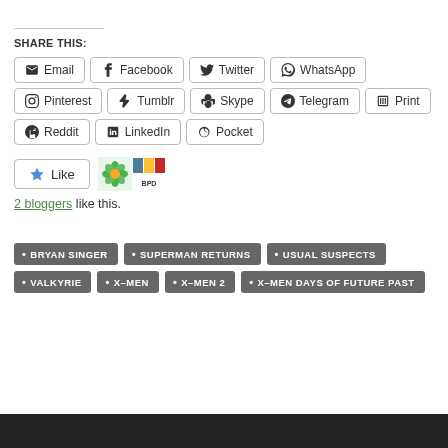SHARE THIS:
[Figure (screenshot): Row of social share buttons: Email, Facebook, Twitter, WhatsApp, Pinterest, Tumblr, Skype, Telegram, Print, Reddit, LinkedIn, Pocket]
[Figure (screenshot): Like button with star icon, followed by two blogger avatar icons (green flower and BPD colored squares)]
2 bloggers like this.
BRYAN SINGER
SUPERMAN RETURNS
USUAL SUSPECTS
VALKYRIE
X–MEN
X–MEN 2
X–MEN DAYS OF FUTURE PAST